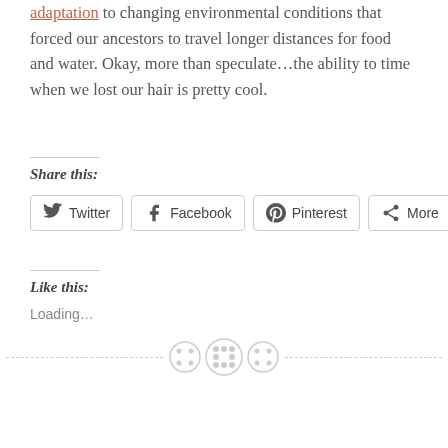adaptation to changing environmental conditions that forced our ancestors to travel longer distances for food and water. Okay, more than speculate…the ability to time when we lost our hair is pretty cool.
Share this:
Twitter | Facebook | Pinterest | More
Like this:
Loading…